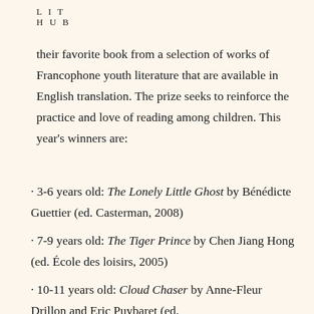LIT HUB
their favorite book from a selection of works of Francophone youth literature that are available in English translation. The prize seeks to reinforce the practice and love of reading among children. This year's winners are:
· 3-6 years old: The Lonely Little Ghost by Bénédicte Guettier (ed. Casterman, 2008)
· 7-9 years old: The Tiger Prince by Chen Jiang Hong (ed. École des loisirs, 2005)
· 10-11 years old: Cloud Chaser by Anne-Fleur Drillon and Eric Puybaret (ed.